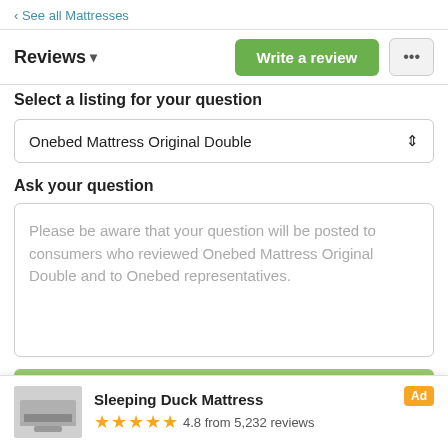‹ See all Mattresses
Reviews ▾
Select a listing for your question
Onebed Mattress Original Double
Ask your question
Please be aware that your question will be posted to consumers who reviewed Onebed Mattress Original Double and to Onebed representatives.
Submit your question
Sleeping Duck Mattress
4.8 from 5,232 reviews
Details